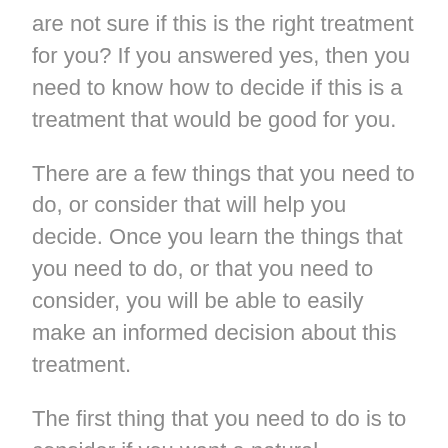are not sure if this is the right treatment for you? If you answered yes, then you need to know how to decide if this is a treatment that would be good for you.
There are a few things that you need to do, or consider that will help you decide. Once you learn the things that you need to do, or that you need to consider, you will be able to easily make an informed decision about this treatment.
The first thing that you need to do is to consider if you want a natural treatment that is safe for everyone, or if this matters to you. Many people choose this treatment because it is natural and safe for everyone, of all ages.